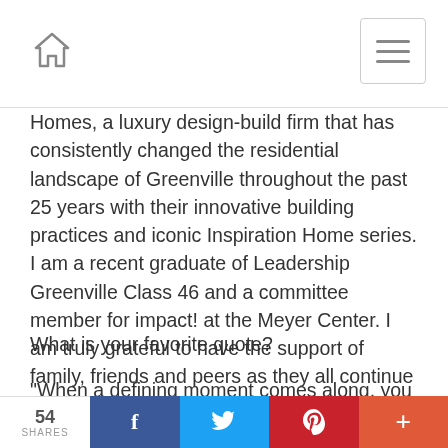Home navigation header with menu button
Homes, a luxury design-build firm that has consistently changed the residential landscape of Greenville throughout the past 25 years with their innovative building practices and iconic Inspiration Home series. I am a recent graduate of Leadership Greenville Class 46 and a committee member for impact! at the Meyer Center. I am truly grateful to have the support of family, friends and peers as they all continue to play a role in my development and success.
What is your favorite quote?
“When a defining moment comes along, you can do one of two things: define the moment or let the moment define
54 SHARES | Facebook | Twitter | Pinterest | More